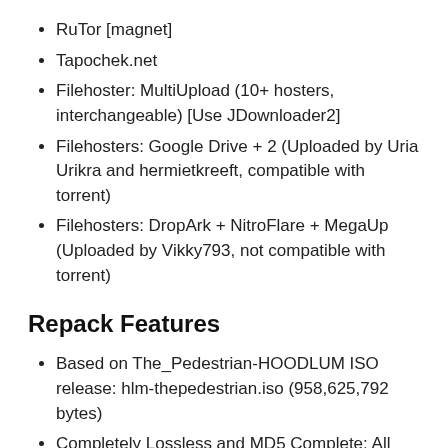RuTor [magnet]
Tapochek.net
Filehoster: MultiUpload (10+ hosters, interchangeable) [Use JDownloader2]
Filehosters: Google Drive + 2 (Uploaded by Uria Urikra and hermietkreeft, compatible with torrent)
Filehosters: DropArk + NitroFlare + MegaUp (Uploaded by Vikky793, not compatible with torrent)
Repack Features
Based on The_Pedestrian-HOODLUM ISO release: hlm-thepedestrian.iso (958,625,792 bytes)
Completely Lossless and MD5 Complete: All files are identical to the original after installation
Absolutely nothing was copied, not a single thing